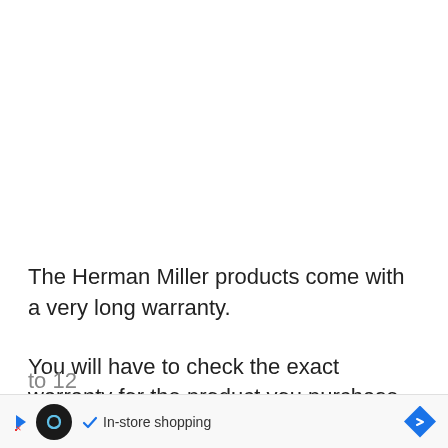The Herman Miller products come with a very long warranty.
You will have to check the exact warranty for the product you purchase, but most are close to 12
[Figure (screenshot): Browser bottom ad bar showing a loop/infinity logo, a checkmark with 'In-store shopping' text, and a blue diamond-shaped arrow button]